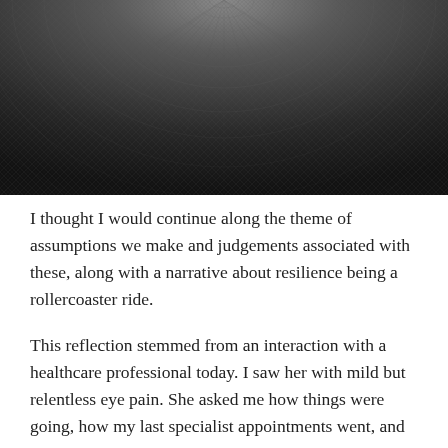[Figure (photo): Close-up black and white photograph of a woven or textured circular pattern, resembling a Fibonacci spiral or wicker weave, with concentric circular arrangement of small diamond/cross shapes converging to a central point at the top.]
I thought I would continue along the theme of assumptions we make and judgements associated with these, along with a narrative about resilience being a rollercoaster ride.
This reflection stemmed from an interaction with a healthcare professional today. I saw her with mild but relentless eye pain. She asked me how things were going, how my last specialist appointments went, and my MRI